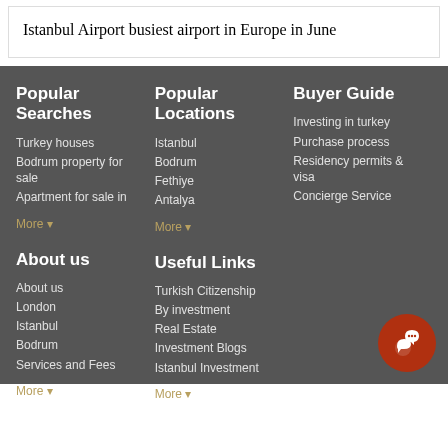Istanbul Airport busiest airport in Europe in June
Popular Searches
Turkey houses
Bodrum property for sale
Apartment for sale in
More
Popular Locations
Istanbul
Bodrum
Fethiye
Antalya
More
Buyer Guide
Investing in turkey
Purchase process
Residency permits & visa
Concierge Service
About us
About us
London
Istanbul
Bodrum
Services and Fees
More
Useful Links
Turkish Citizenship
By investment
Real Estate
Investment Blogs
Istanbul Investment
More